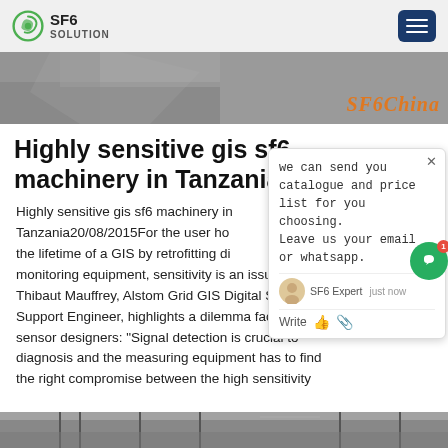SF6 SOLUTION
[Figure (photo): Hero banner image showing industrial equipment with 'SF6China' text overlay in orange]
Highly sensitive gis sf6 machinery in Tanzania
Highly sensitive gis sf6 machinery in Tanzania20/08/2015For the user hoping to extend the lifetime of a GIS by retrofitting diagnostic monitoring equipment, sensitivity is an issue. Thibaut Mauffrey, Alstom Grid GIS Digital Solutions Support Engineer, highlights a dilemma facing sensor designers: "Signal detection is crucial to diagnosis and the measuring equipment has to find the right compromise between the high sensitivity
[Figure (screenshot): Chat popup overlay with message: 'we can send you catalogue and price list for you choosing. Leave us your email or whatsapp.' with SF6 Expert agent shown as 'just now']
[Figure (photo): Bottom strip showing industrial electrical equipment/pylons]